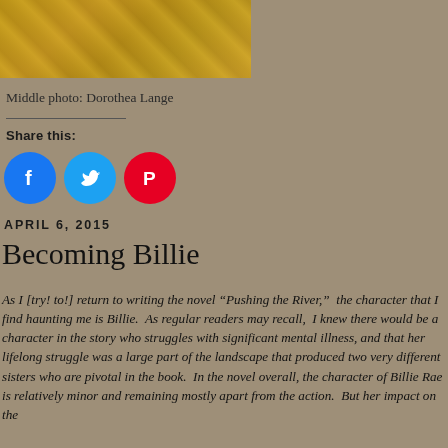[Figure (photo): Partial cropped photo showing person(s) in yellow/gold clothing against dark background — only bottom portion visible]
Middle photo: Dorothea Lange
Share this:
[Figure (infographic): Three social media share buttons: Facebook (blue circle), Twitter (light blue circle), Pinterest (red circle)]
APRIL 6, 2015
Becoming Billie
As I [try! to!] return to writing the novel “Pushing the River,”  the character that I find haunting me is Billie.  As regular readers may recall,  I knew there would be a character in the story who struggles with significant mental illness, and that her lifelong struggle was a large part of the landscape that produced two very different sisters who are pivotal in the book.  In the novel overall, the character of Billie Rae is relatively minor and remaining mostly apart from the action.  But her impact on the